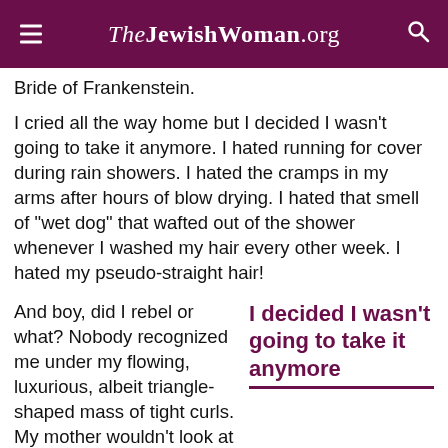TheJewishWoman.org
Bride of Frankenstein.
I cried all the way home but I decided I wasn't going to take it anymore. I hated running for cover during rain showers. I hated the cramps in my arms after hours of blow drying. I hated that smell of "wet dog" that wafted out of the shower whenever I washed my hair every other week. I hated my pseudo-straight hair!
And boy, did I rebel or what? Nobody recognized me under my flowing, luxurious, albeit triangle-shaped mass of tight curls. My mother wouldn't look at it or talk
I decided I wasn't going to take it anymore